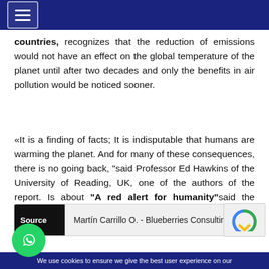[navigation header with hamburger menu]
countries, recognizes that the reduction of emissions would not have an effect on the global temperature of the planet until after two decades and only the benefits in air pollution would be noticed sooner.
«It is a finding of facts; It is indisputable that humans are warming the planet. And for many of these consequences, there is no going back, "said Professor Ed Hawkins of the University of Reading, UK, one of the authors of the report. Is about "A red alert for humanity"said the Secretary General of the United Nations, António Guterres.
Source: Martín Carrillo O. - Blueberries Consulting
We use cookies to ensure we give the best user experience on our